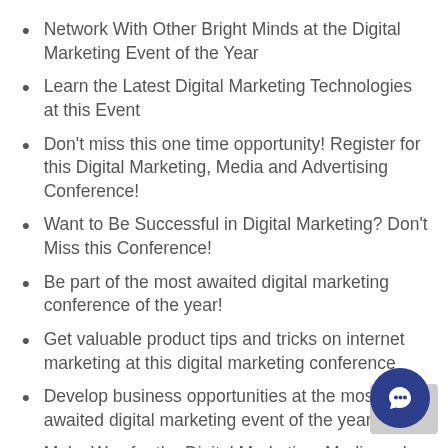Network With Other Bright Minds at the Digital Marketing Event of the Year
Learn the Latest Digital Marketing Technologies at this Event
Don't miss this one time opportunity! Register for this Digital Marketing, Media and Advertising Conference!
Want to Be Successful in Digital Marketing? Don't Miss this Conference!
Be part of the most awaited digital marketing conference of the year!
Get valuable product tips and tricks on internet marketing at this digital marketing conference
Develop business opportunities at the most awaited digital marketing event of the year
Make Way for the Digital Marketing, Media and Advertising Conference of the Year